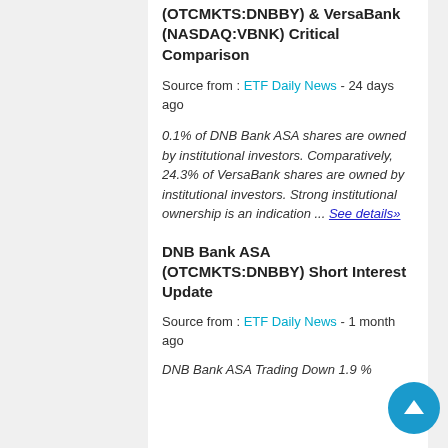(OTCMKTS:DNBBY) & VersaBank (NASDAQ:VBNK) Critical Comparison
Source from : ETF Daily News - 24 days ago
0.1% of DNB Bank ASA shares are owned by institutional investors. Comparatively, 24.3% of VersaBank shares are owned by institutional investors. Strong institutional ownership is an indication ... See details»
DNB Bank ASA (OTCMKTS:DNBBY) Short Interest Update
Source from : ETF Daily News - 1 month ago
DNB Bank ASA Trading Down 1.9 %